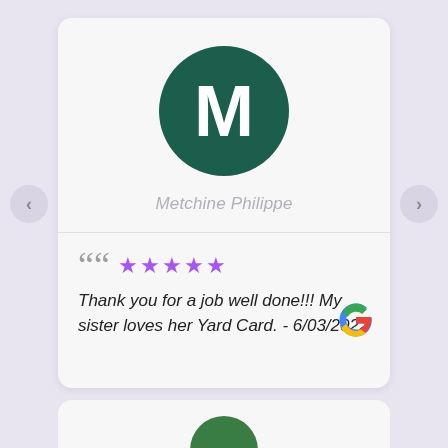[Figure (illustration): Dark teal circle with white letter M, serving as avatar/profile picture for reviewer Metchine Philippe]
Metchine Philippe
“” ★★★★★ Thank you for a job well done!!! My sister loves her Yard Card. - 6/03/2022
[Figure (logo): Google logo G in multicolor (red, yellow, green, blue)]
[Figure (illustration): Partially visible green circle avatar at the bottom, second review card cut off]